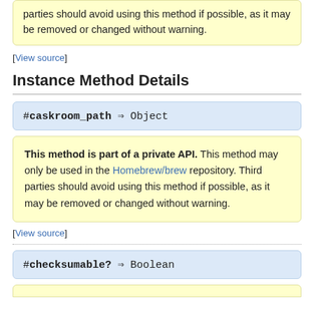parties should avoid using this method if possible, as it may be removed or changed without warning.
[View source]
Instance Method Details
#caskroom_path ⇒ Object
This method is part of a private API. This method may only be used in the Homebrew/brew repository. Third parties should avoid using this method if possible, as it may be removed or changed without warning.
[View source]
#checksumable? ⇒ Boolean